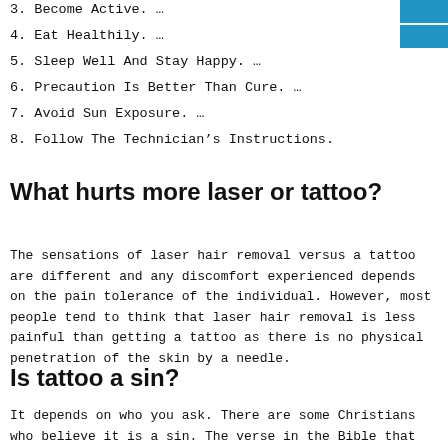3. Become Active. …
4. Eat Healthily. …
5. Sleep Well And Stay Happy. …
6. Precaution Is Better Than Cure. …
7. Avoid Sun Exposure. …
8. Follow The Technician's Instructions.
What hurts more laser or tattoo?
The sensations of laser hair removal versus a tattoo are different and any discomfort experienced depends on the pain tolerance of the individual. However, most people tend to think that laser hair removal is less painful than getting a tattoo as there is no physical penetration of the skin by a needle.
Is tattoo a sin?
It depends on who you ask. There are some Christians who believe it is a sin. The verse in the Bible that most Christians make reference to is Leviticus 19:28 which says "Ye shall not…